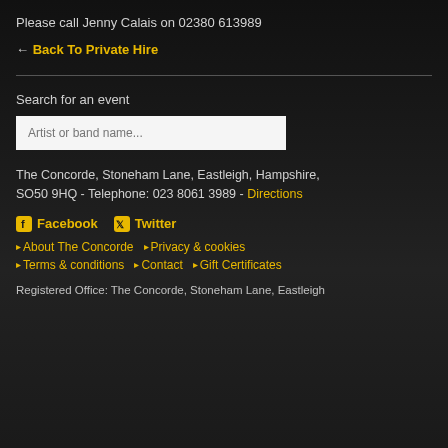Please call Jenny Calais on 02380 613989
← Back To Private Hire
Search for an event
Artist or band name...
The Concorde, Stoneham Lane, Eastleigh, Hampshire, SO50 9HQ - Telephone: 023 8061 3989 - Directions
Facebook  Twitter
About The Concorde
Privacy & cookies
Terms & conditions
Contact
Gift Certificates
Registered Office: The Concorde, Stoneham Lane, Eastleigh